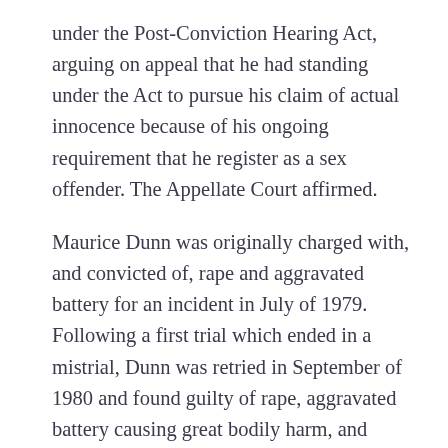under the Post-Conviction Hearing Act, arguing on appeal that he had standing under the Act to pursue his claim of actual innocence because of his ongoing requirement that he register as a sex offender. The Appellate Court affirmed.
Maurice Dunn was originally charged with, and convicted of, rape and aggravated battery for an incident in July of 1979. Following a first trial which ended in a mistrial, Dunn was retried in September of 1980 and found guilty of rape, aggravated battery causing great bodily harm, and aggravated battery on a public way and was sentenced to 40 years imprisonment. Id. at ¶ 5.